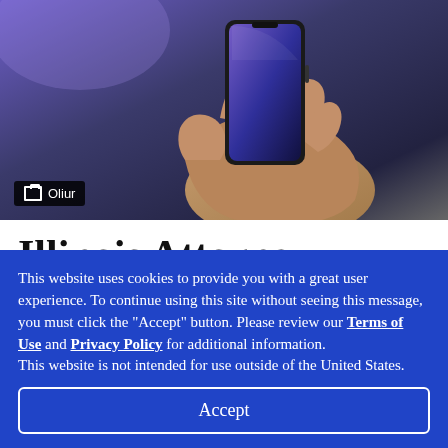[Figure (photo): A hand holding a smartphone with a dark screen, against a dark background. Photo credit label 'Oliur' shown in bottom-left corner of image.]
Illinois Attorney General Issues Robocall Report
This website uses cookies to provide you with a great user experience. To continue using this site without seeing this message, you must click the "Accept" button. Please review our Terms of Use and Privacy Policy for additional information.
This website is not intended for use outside of the United States.
Accept